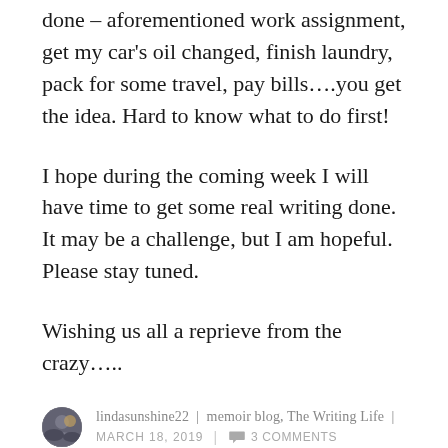done – aforementioned work assignment, get my car's oil changed, finish laundry, pack for some travel, pay bills….you get the idea. Hard to know what to do first!
I hope during the coming week I will have time to get some real writing done. It may be a challenge, but I am hopeful. Please stay tuned.
Wishing us all a reprieve from the crazy…..
lindasunshine22  |  memoir blog, The Writing Life  |  MARCH 18, 2019  |  3 Comments